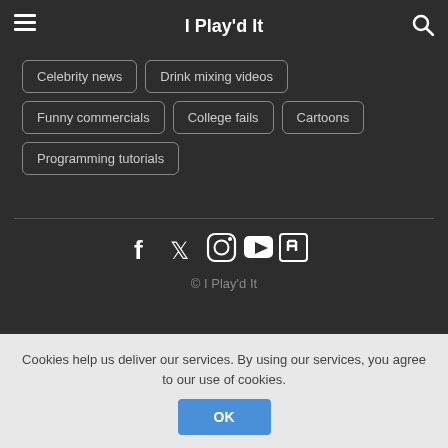I Play'd It
Celebrity news
Drink mixing videos
Funny commercials
College fails
Cartoons
Programming tutorials
[Figure (other): Social media icons: Facebook, Twitter, Instagram, YouTube, Twitch]
© I Play'd It
Cookies help us deliver our services. By using our services, you agree to our use of cookies.
OK